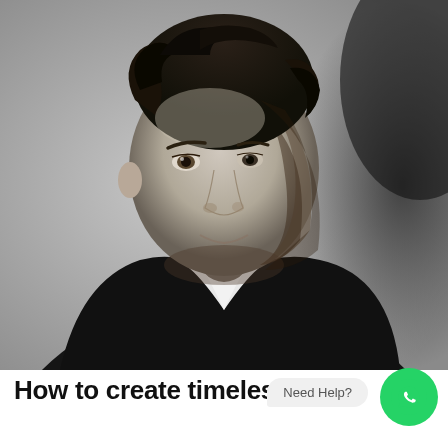[Figure (photo): Black and white portrait photo of a middle-aged man with curly dark hair, wearing a dark blazer over an open-collar white shirt, looking slightly upward and to the left with a subtle expression, against a grey background.]
Need Help?
How to create timeless